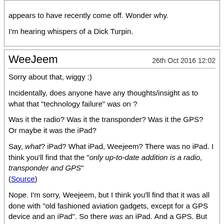appears to have recently come off. Wonder why.

I'm hearing whispers of a Dick Turpin.
WeeJeem   26th Oct 2016 12:02

Sorry about that, wiggy :)

Incidentally, does anyone have any thoughts/insight as to what that "technology failure" was on ?

Was it the radio? Was it the transponder? Was it the GPS?
Or maybe it was the iPad?

Say, what? iPad? What iPad, Weejeem? There was no iPad. I think you'll find that the "only up-to-date addition is a radio, transponder and GPS"
(Source)

Nope. I'm sorry, Weejeem, but I think you'll find that it was all done with "old fashioned aviation gadgets, except for a GPS device and an iPad". So there was an iPad. And a GPS. But no radio or transponder.
(Source)


Ah, I see.
Actually, no, I don't.
Both of me is confused.